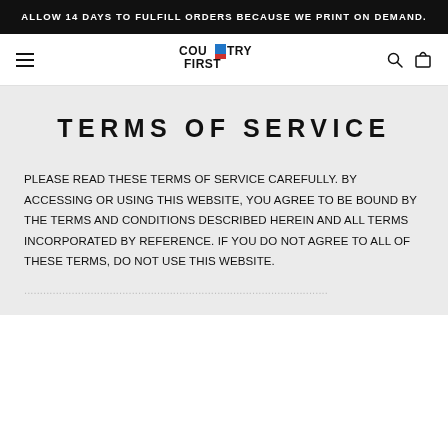ALLOW 14 DAYS TO FULFILL ORDERS BECAUSE WE PRINT ON DEMAND.
[Figure (logo): Country First logo with blue and red flag icon, hamburger menu icon on left, search and cart icons on right]
TERMS OF SERVICE
PLEASE READ THESE TERMS OF SERVICE CAREFULLY. BY ACCESSING OR USING THIS WEBSITE, YOU AGREE TO BE BOUND BY THE TERMS AND CONDITIONS DESCRIBED HEREIN AND ALL TERMS INCORPORATED BY REFERENCE. IF YOU DO NOT AGREE TO ALL OF THESE TERMS, DO NOT USE THIS WEBSITE.